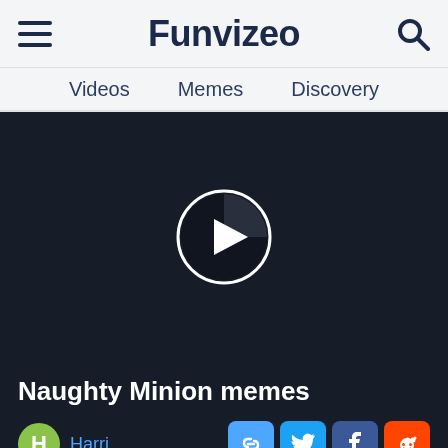Funvizeo
Videos   Memes   Discovery
[Figure (screenshot): Dark video player area with a circular play button (white triangle inside a dark circle with white ring) centered on a near-black background]
Naughty Minion memes
Harri
[Figure (other): Social share buttons: copy link (blue), Twitter (light blue), Facebook (dark blue), Reddit (orange)]